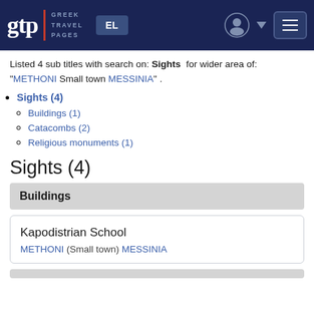gtp | GREEK TRAVEL PAGES | EL
Listed 4 sub titles with search on: Sights for wider area of: "METHONI Small town MESSINIA".
Sights (4)
Buildings (1)
Catacombs (2)
Religious monuments (1)
Sights (4)
Buildings
Kapodistrian School
METHONI (Small town) MESSINIA